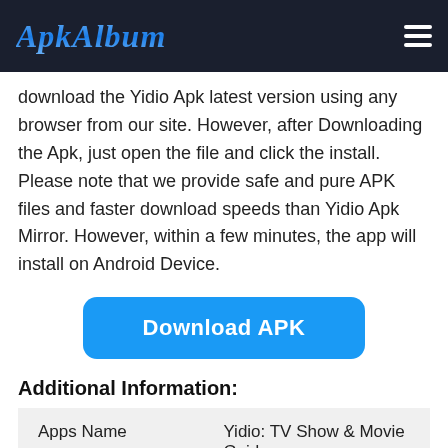ApkAlbum
download the Yidio Apk latest version using any browser from our site. However, after Downloading the Apk, just open the file and click the install. Please note that we provide safe and pure APK files and faster download speeds than Yidio Apk Mirror. However, within a few minutes, the app will install on Android Device.
[Figure (other): Download APK button — a large rounded blue button with white text saying 'Download APK']
Additional Information:
| Apps Name | Yidio: TV Show & Movie Guide |
| Apps Current Version | 3.7.8 |